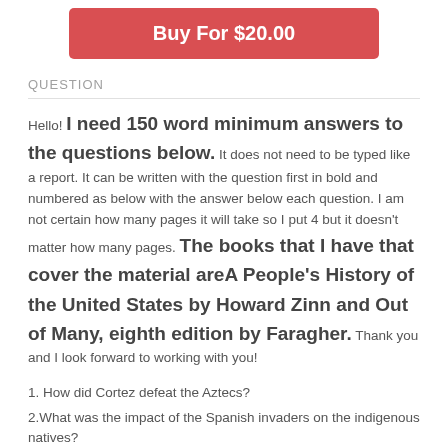[Figure (other): Red button labeled 'Buy For $20.00']
QUESTION
Hello! I need 150 word minimum answers to the questions below. It does not need to be typed like a report. It can be written with the question first in bold and numbered as below with the answer below each question. I am not certain how many pages it will take so I put 4 but it doesn't matter how many pages. The books that I have that cover the material areA People's History of the United States by Howard Zinn and Out of Many, eighth edition by Faragher. Thank you and I look forward to working with you!
1. How did Cortez defeat the Aztecs?
2.What was the impact of the Spanish invaders on the indigenous natives?
3. What was the relationship between England and Ireland?